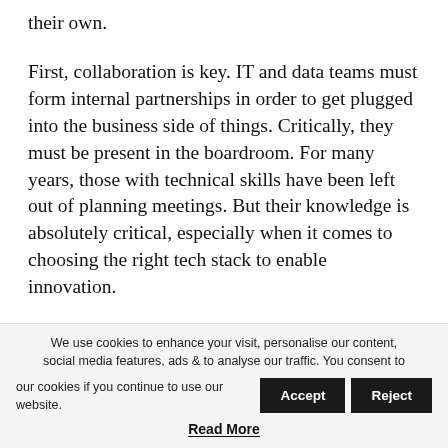their own.
First, collaboration is key. IT and data teams must form internal partnerships in order to get plugged into the business side of things. Critically, they must be present in the boardroom. For many years, those with technical skills have been left out of planning meetings. But their knowledge is absolutely critical, especially when it comes to choosing the right tech stack to enable innovation.
If it becomes apparent that the team is lacking in the necessary tech capabilities, outsourcing is extremely valuable. But beware: it is essential to focus on building up internal capability in order to create long-lasting
We use cookies to enhance your visit, personalise our content, social media features, ads & to analyse our traffic. You consent to our cookies if you continue to use our website. Accept Reject Read More